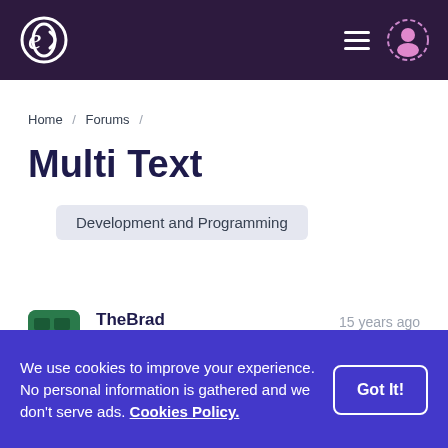Navigation header with logo, hamburger menu, and user icon
Home / Forums /
Multi Text
Development and Programming
TheBrad  15 years ago
We use cookies to improve your experience. No personal information is gathered and we don't serve ads. Cookies Policy.